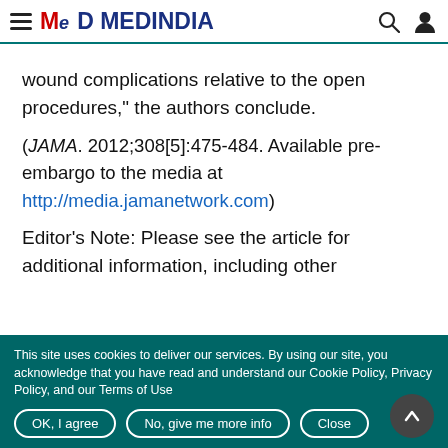MEDINDIA
wound complications relative to the open procedures," the authors conclude.
(JAMA. 2012;308[5]:475-484. Available pre-embargo to the media at http://media.jamanetwork.com)
Editor's Note: Please see the article for additional information, including other
This site uses cookies to deliver our services. By using our site, you acknowledge that you have read and understand our Cookie Policy, Privacy Policy, and our Terms of Use